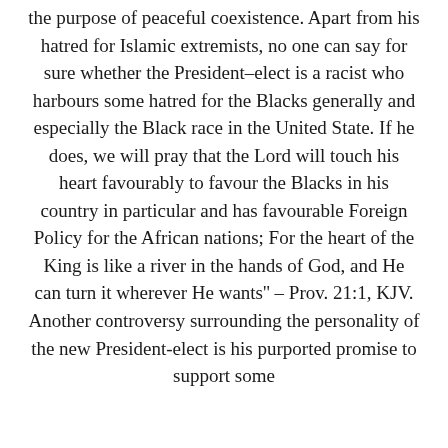the purpose of peaceful coexistence. Apart from his hatred for Islamic extremists, no one can say for sure whether the President–elect is a racist who harbours some hatred for the Blacks generally and especially the Black race in the United State. If he does, we will pray that the Lord will touch his heart favourably to favour the Blacks in his country in particular and has favourable Foreign Policy for the African nations; For the heart of the King is like a river in the hands of God, and He can turn it wherever He wants'' – Prov. 21:1, KJV. Another controversy surrounding the personality of the new President-elect is his purported promise to support some